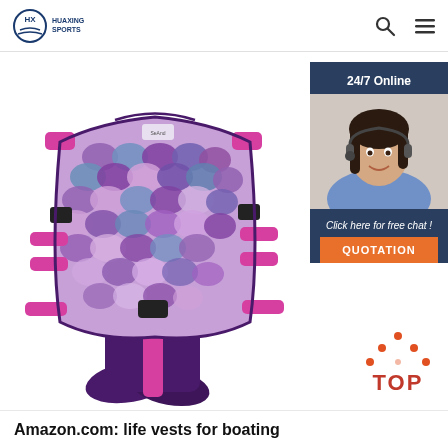HUAXING SPORTS
[Figure (photo): A children's mermaid swim vest / life jacket with a fish-scale pattern in purple, blue, and pink colors with magenta straps and buckles, and a purple mermaid tail fin at the bottom.]
[Figure (photo): 24/7 online chat widget showing a female customer service agent with headset, with text 'Click here for free chat!' and an orange QUOTATION button.]
[Figure (illustration): Orange dotted triangle 'TOP' scroll-to-top button icon.]
Amazon.com: life vests for boating